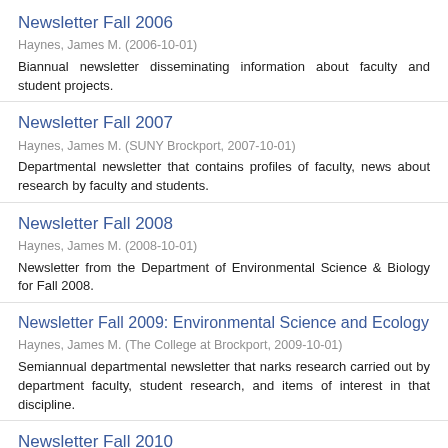Newsletter Fall 2006
Haynes, James M. (2006-10-01)
Biannual newsletter disseminating information about faculty and student projects.
Newsletter Fall 2007
Haynes, James M. (SUNY Brockport, 2007-10-01)
Departmental newsletter that contains profiles of faculty, news about research by faculty and students.
Newsletter Fall 2008
Haynes, James M. (2008-10-01)
Newsletter from the Department of Environmental Science & Biology for Fall 2008.
Newsletter Fall 2009: Environmental Science and Ecology
Haynes, James M. (The College at Brockport, 2009-10-01)
Semiannual departmental newsletter that narks research carried out by department faculty, student research, and items of interest in that discipline.
Newsletter Fall 2010